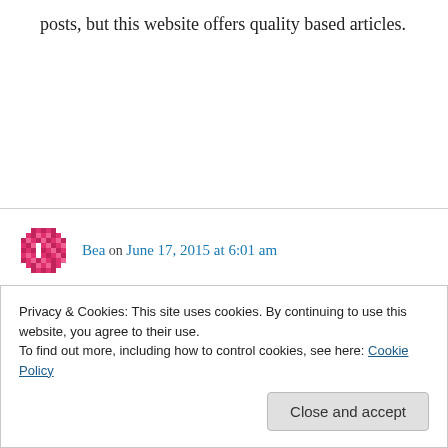posts, but this website offers quality based articles.
↳ Reply
Bea on June 17, 2015 at 6:01 am
Right here is the perfect site for everyone who really wants to understand this topic. You understand a whole lot its almost tough to argue with you (not that I actually
Privacy & Cookies: This site uses cookies. By continuing to use this website, you agree to their use.
To find out more, including how to control cookies, see here: Cookie Policy
Close and accept